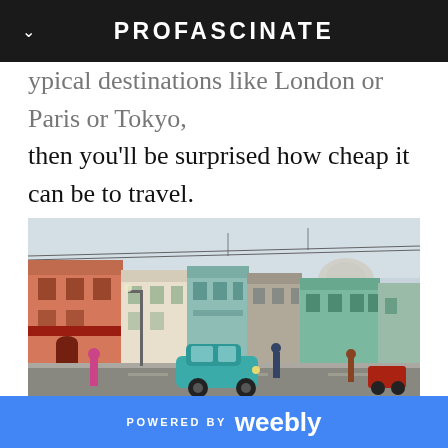PROFASCINATE
typical destinations like London or Paris or Tokyo, then you'll be surprised how cheap it can be to travel.
[Figure (photo): Street scene of Havana, Cuba with colorful colonial buildings, a vintage turquoise car, pedestrians, and the Capitol building dome visible in the background under an overcast sky.]
POWERED BY weebly